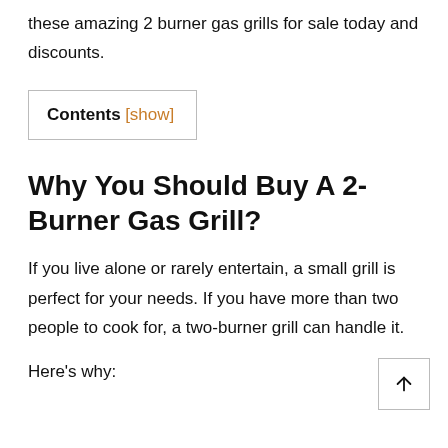these amazing 2 burner gas grills for sale today and discounts.
Contents [show]
Why You Should Buy A 2-Burner Gas Grill?
If you live alone or rarely entertain, a small grill is perfect for your needs. If you have more than two people to cook for, a two-burner grill can handle it.
Here's why: